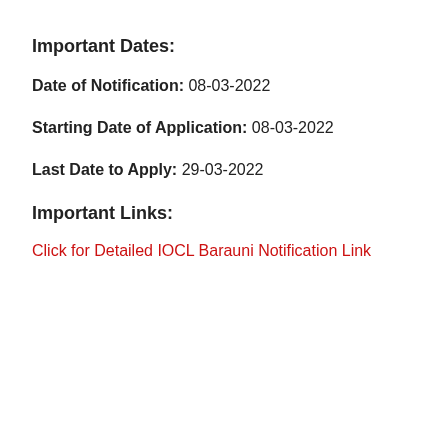Important Dates:
Date of Notification: 08-03-2022
Starting Date of Application: 08-03-2022
Last Date to Apply: 29-03-2022
Important Links:
Click for Detailed IOCL Barauni Notification Link